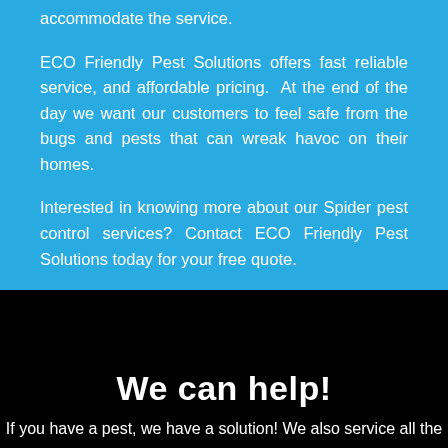accommodate the service.
ECO Friendly Pest Solutions offers fast reliable service, and affordable pricing. At the end of the day we want our customers to feel safe from the bugs and pests that can wreak havoc on their homes.
Interested in knowing more about our Spider pest control services? Contact ECO Friendly Pest Solutions today for your free quote.
We can help!
If you have a pest, we have a solution! We also service all the